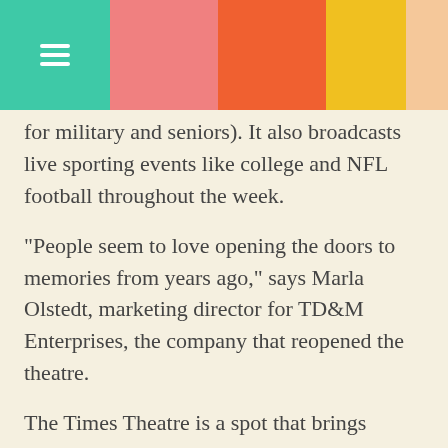[Figure (other): Page header with colored blocks: teal section with hamburger menu icon, followed by pink, orange, yellow, and peach colored rectangles.]
for military and seniors). It also broadcasts live sporting events like college and NFL football throughout the week.
“People seem to love opening the doors to memories from years ago,” says Marla Olstedt, marketing director for TD&M Enterprises, the company that reopened the theatre.
The Times Theatre is a spot that brings people together — visitors and locals alike — to enjoy a local brew and upscale pub classics while watching a movie on the 30-foot screen.
The pub’s menu has you covered with comfort-food favorites such as fried dill pickle chips, cheese curds and poutine (hand-cut fries covered with cheese curds and brown gravy). Tasty